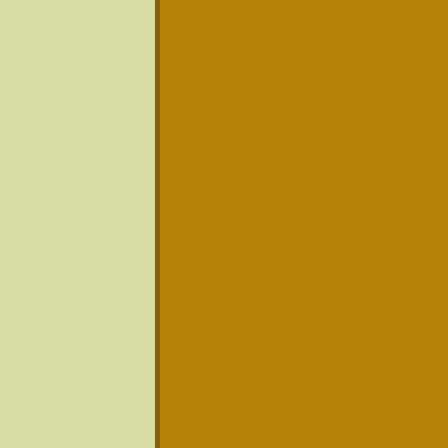crowds, you can alwa... English Bay. Many loc... they can enjoy the mu... of Fire takes place on...
Squamish-Whistler